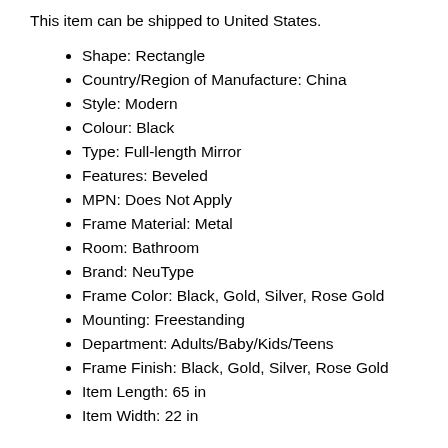This item can be shipped to United States.
Shape: Rectangle
Country/Region of Manufacture: China
Style: Modern
Colour: Black
Type: Full-length Mirror
Features: Beveled
MPN: Does Not Apply
Frame Material: Metal
Room: Bathroom
Brand: NeuType
Frame Color: Black, Gold, Silver, Rose Gold
Mounting: Freestanding
Department: Adults/Baby/Kids/Teens
Frame Finish: Black, Gold, Silver, Rose Gold
Item Length: 65 in
Item Width: 22 in